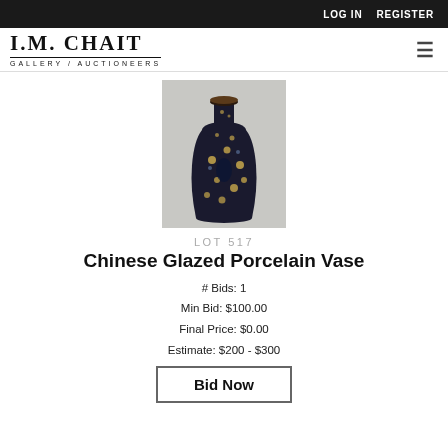LOG IN   REGISTER
I.M. CHAIT GALLERY / AUCTIONEERS
[Figure (photo): A Chinese glazed porcelain vase with dark navy/black background decorated with gold floral patterns, tall narrow neck and bulbous body.]
LOT 517
Chinese Glazed Porcelain Vase
# Bids: 1
Min Bid: $100.00
Final Price: $0.00
Estimate: $200 - $300
Bid Now